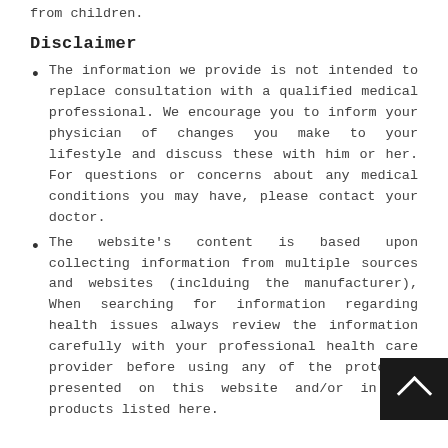from children.
Disclaimer
The information we provide is not intended to replace consultation with a qualified medical professional. We encourage you to inform your physician of changes you make to your lifestyle and discuss these with him or her. For questions or concerns about any medical conditions you may have, please contact your doctor.
The website's content is based upon collecting information from multiple sources and websites (inclduing the manufacturer), When searching for information regarding health issues always review the information carefully with your professional health care provider before using any of the protocols presented on this website and/or in the products listed here.